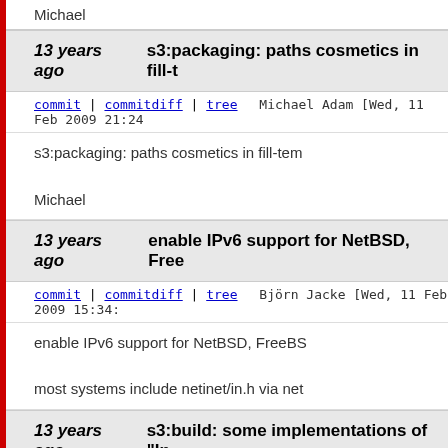Michael
13 years ago   s3:packaging: paths cosmetics in fill-t...
commit | commitdiff | tree   Michael Adam [Wed, 11 Feb 2009 21:24...
s3:packaging: paths cosmetics in fill-tem...

Michael
13 years ago   enable IPv6 support for NetBSD, Free...
commit | commitdiff | tree   Björn Jacke [Wed, 11 Feb 2009 15:34:...
enable IPv6 support for NetBSD, FreeBS...

most systems include netinet/in.h via net...
13 years ago   s3:build: some implementations of "In...
commit | commitdiff | tree   Michael Adam [Wed, 11 Feb 2009 10:02...
s3:build: some implementations of "In" a...

Michael